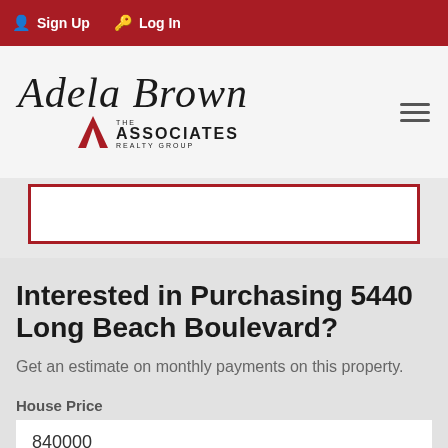Sign Up  Log In
[Figure (logo): Adela Brown - The Associates Realty Group logo with script text and red triangle]
[Figure (other): Partial red-bordered white box (form element cropped)]
Interested in Purchasing 5440 Long Beach Boulevard?
Get an estimate on monthly payments on this property.
House Price
840000